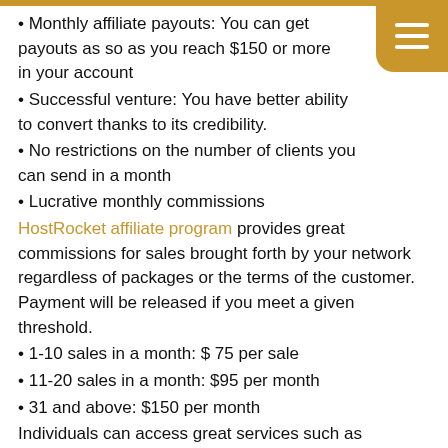Monthly affiliate payouts: You can get payouts as soon as you reach $150 or more in your account
Successful venture: You have better ability to convert thanks to its credibility.
No restrictions on the number of clients you can send in a month
Lucrative monthly commissions
HostRocket affiliate program provides great commissions for sales brought forth by your network regardless of packages or the terms of the customer. Payment will be released if you meet a given threshold.
1-10 sales in a month: $ 75 per sale
11-20 sales in a month: $95 per month
31 and above: $150 per month
Individuals can access great services such as professional website designs, tools and domain registration. Personal and enterprise portfolios are also available.